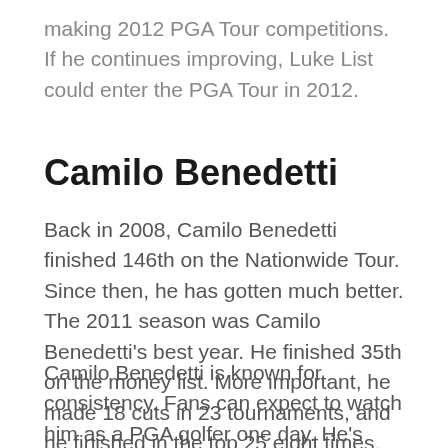making 2012 PGA Tour competitions. If he continues improving, Luke List could enter the PGA Tour in 2012.
Camilo Benedetti
Back in 2008, Camilo Benedetti finished 146th on the Nationwide Tour. Since then, he has gotten much better. The 2011 season was Camilo Benedetti’s best year. He finished 35th on the money list. More important, he made 18 cuts in 23 tournaments, and he finished in the top 25 eight times.
Camilo Benedetti is known for consistency. Fans can expect to watch him as a PGA golfer one day. He’s played in two PGA events before, but Benedetti could